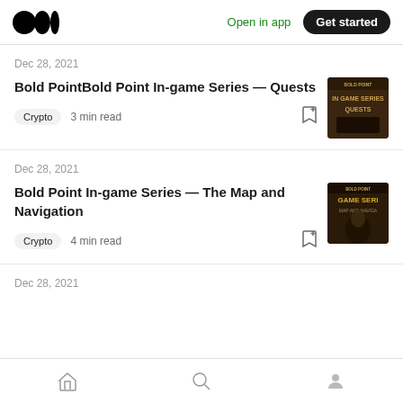Medium logo | Open in app | Get started
Dec 28, 2021
Bold PointBold Point In-game Series — Quests
Crypto  3 min read
[Figure (photo): Game cover image for Bold Point In-game Series Quests — dark fantasy art with gold text]
Dec 28, 2021
Bold Point In-game Series — The Map and Navigation
Crypto  4 min read
[Figure (photo): Game cover image for Bold Point In-game Series The Map and Navigation — dark fantasy art with a cloaked figure]
Dec 28, 2021
Home | Search | Profile